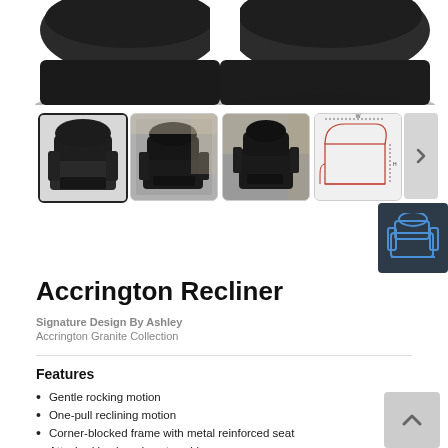[Figure (photo): Top portion of a dark gray/black upholstered recliner chair product photo on white background, showing the upper back and top cushion area]
[Figure (photo): Thumbnail strip of 4 product images of the Accrington Recliner in granite/dark gray: 1) front-facing close shot (active/selected), 2) room setting front view, 3) room setting side angle, 4) technical dimension schematic diagram. Plus a dark overlay thumbnail showing a blue outline illustration of the chair.]
Accrington Recliner
Signature Design By Ashley
Accrington Granite Collection
Features
Gentle rocking motion
One-pull reclining motion
Corner-blocked frame with metal reinforced seat
Attached back and seat cushions